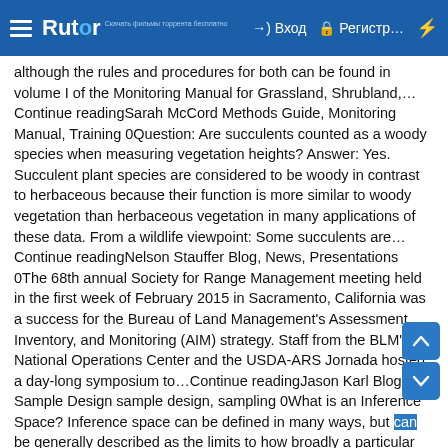Rutor | Вход | Регистр... | ⚡
although the rules and procedures for both can be found in volume I of the Monitoring Manual for Grassland, Shrubland,… Continue readingSarah McCord Methods Guide, Monitoring Manual, Training 0Question: Are succulents counted as a woody species when measuring vegetation heights? Answer: Yes. Succulent plant species are considered to be woody in contrast to herbaceous because their function is more similar to woody vegetation than herbaceous vegetation in many applications of these data. From a wildlife viewpoint: Some succulents are… Continue readingNelson Stauffer Blog, News, Presentations 0The 68th annual Society for Range Management meeting held in the first week of February 2015 in Sacramento, California was a success for the Bureau of Land Management's Assessment, Inventory, and Monitoring (AIM) strategy. Staff from the BLM's National Operations Center and the USDA-ARS Jornada hosted a day-long symposium to…Continue readingJason Karl Blog, Sample Design sample design, sampling 0What is an Inference Space? Inference space can be defined in many ways, but can be generally described as the limits to how broadly a particular